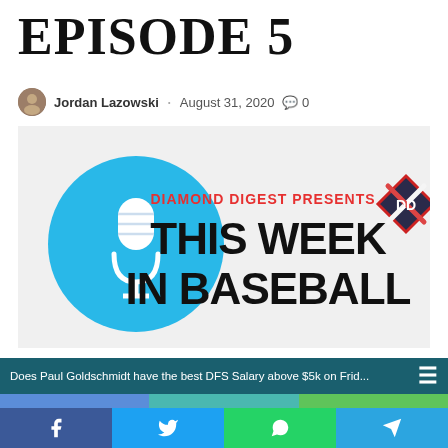EPISODE 5
Jordan Lazowski · August 31, 2020 💬 0
[Figure (illustration): Diamond Digest Presents This Week In Baseball podcast logo. Blue circle with white microphone on left, bold red text 'DIAMOND DIGEST PRESENTS' above large black text 'THIS WEEK IN BASEBALL', with crossed baseball bats logo in top right.]
Does Paul Goldschmidt have the best DFS Salary above $5k on Frid...
Social share buttons: Facebook, Twitter, WhatsApp, Telegram